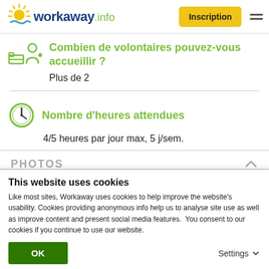workaway.info | Inscription
Combien de volontaires pouvez-vous accueillir ?
Plus de 2
Nombre d'heures attendues
4/5 heures par jour max, 5 j/sem.
PHOTOS
This website uses cookies
Like most sites, Workaway uses cookies to help improve the website's usability. Cookies providing anonymous info help us to analyse site use as well as improve content and present social media features.  You consent to our cookies if you continue to use our website.
OK
Settings